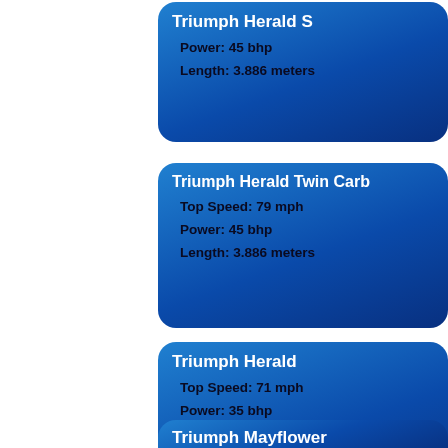[Figure (infographic): Card for Triumph Herald S: Power: 45 bhp, Length: 3.886 meters]
[Figure (infographic): Card for Triumph Herald Twin Carb: Top Speed: 79 mph, Power: 45 bhp, Length: 3.886 meters]
[Figure (infographic): Card for Triumph Herald: Top Speed: 71 mph, Power: 35 bhp, Length: 3.886 meters]
[Figure (infographic): Card for Triumph Mayflower (partially visible at bottom)]